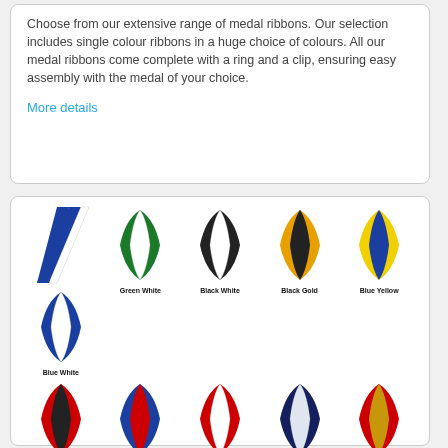Choose from our extensive range of medal ribbons. Our selection includes single colour ribbons in a huge choice of colours. All our medal ribbons come complete with a ring and a clip, ensuring easy assembly with the medal of your choice.
More details
[Figure (illustration): Grid of medal ribbon images in various color combinations: Blue White, Green White, Black White, Black Gold, Blue Yellow, Black Red, Blue Red, Red White, Navy Blue White, Red Gold, and more partial row below.]